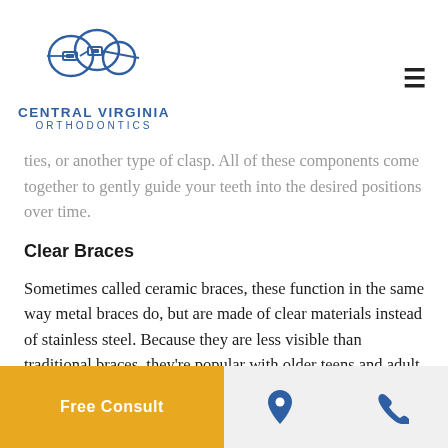Central Virginia Orthodontics
ties, or another type of clasp. All of these components come together to gently guide your teeth into the desired positions over time.
Clear Braces
Sometimes called ceramic braces, these function in the same way metal braces do, but are made of clear materials instead of stainless steel. Because they are less visible than traditional braces, they're popular with older teens and adult patients who may be more image-conscious. They are larger and more brittle than their metal counterparts, so we tend to use them on the upper front teeth more often than the lower teeth.
Free Consult